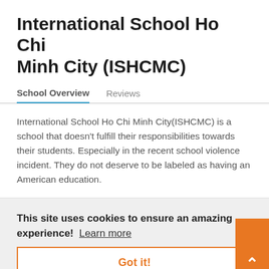International School Ho Chi Minh City (ISHCMC)
School Overview    Reviews
International School Ho Chi Minh City(ISHCMC) is a school that doesn't fulfill their responsibilities towards their students. Especially in the recent school violence incident. They do not deserve to be labeled as having an American education.
This site uses cookies to ensure an amazing experience!  Learn more
Got it!
Facilities